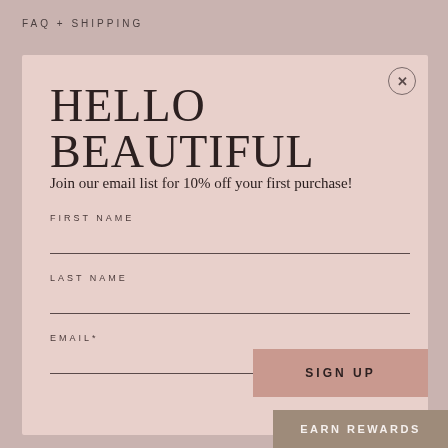FAQ + SHIPPING
HELLO BEAUTIFUL
Join our email list for 10% off your first purchase!
FIRST NAME
LAST NAME
EMAIL*
SIGN UP
EARN REWARDS